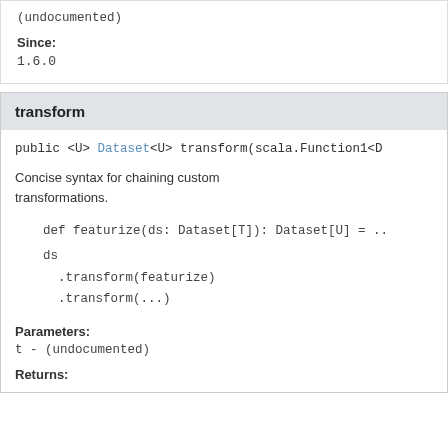(undocumented)
Since:
1.6.0
transform
public <U> Dataset<U> transform(scala.Function1<D
Concise syntax for chaining custom transformations.
def featurize(ds: Dataset[T]): Dataset[U] = ..
ds
  .transform(featurize)
  .transform(...)
Parameters:
t - (undocumented)
Returns: